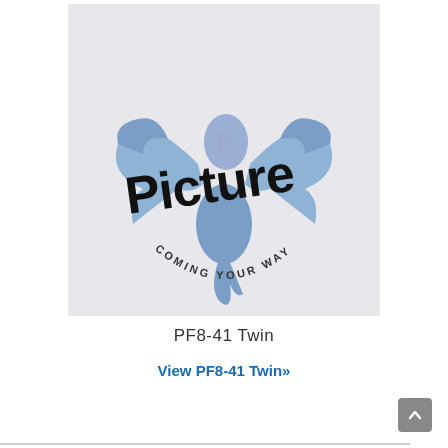[Figure (illustration): Placeholder image with a blue phoenix/dragon logo and text 'Picture COMING YOUR WAY SOON' on a light gray background]
PF8-41 Twin
View PF8-41 Twin»